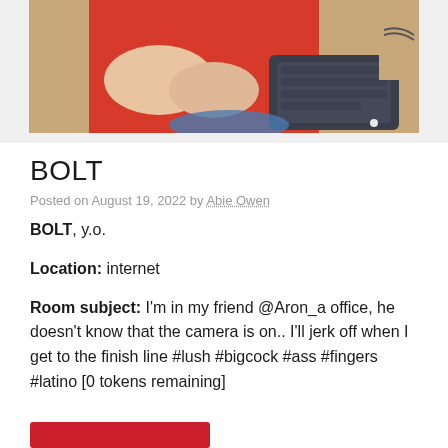[Figure (photo): A person in a red shirt with hands visible, a keyboard on a surface nearby, indoor setting.]
BOLT
Posted on August 19, 2022 by Abie Owen
BOLT, y.o.
Location: internet
Room subject: I'm in my friend @Aron_a office, he doesn't know that the camera is on.. I'll jerk off when I get to the finish line #lush #bigcock #ass #fingers #latino [0 tokens remaining]